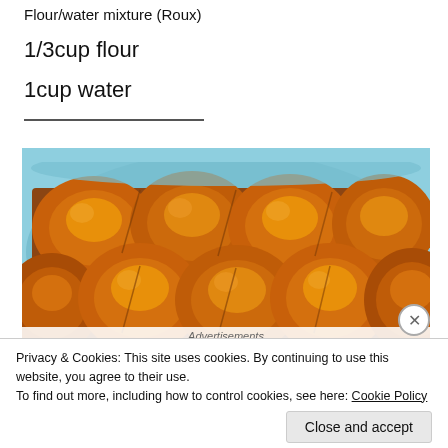Flour/water mixture (Roux)
1/3cup flour
1cup water
[Figure (photo): Golden baked bread rolls in a blue dish, viewed from above, showing several round glossy rolls closely packed together]
Advertisements
Privacy & Cookies: This site uses cookies. By continuing to use this website, you agree to their use.
To find out more, including how to control cookies, see here: Cookie Policy
Close and accept